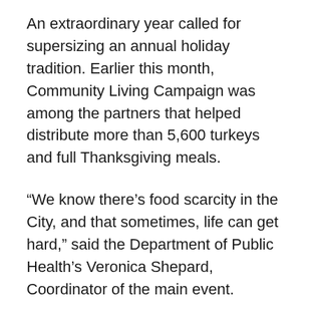An extraordinary year called for supersizing an annual holiday tradition. Earlier this month, Community Living Campaign was among the partners that helped distribute more than 5,600 turkeys and full Thanksgiving meals.
“We know there’s food scarcity in the City, and that sometimes, life can get hard,” said the Department of Public Health’s Veronica Shepard, Coordinator of the main event.